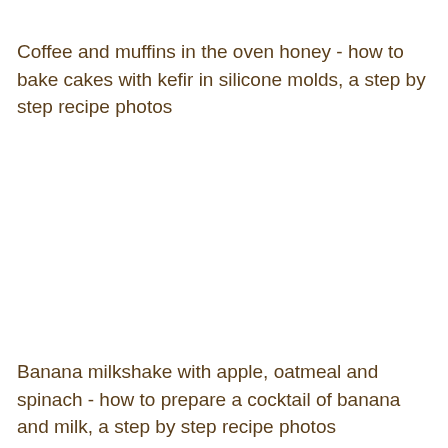Coffee and muffins in the oven honey - how to bake cakes with kefir in silicone molds, a step by step recipe photos
Banana milkshake with apple, oatmeal and spinach - how to prepare a cocktail of banana and milk, a step by step recipe photos